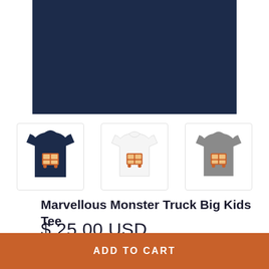[Figure (photo): Close-up of navy blue children's t-shirt with monster truck graphic print]
[Figure (photo): Three thumbnail images of the t-shirt in navy, white, and gray color variants]
Marvellous Monster Truck Big Kids Tee
$ 25.00 USD
Colour - Navy
ADD TO CART